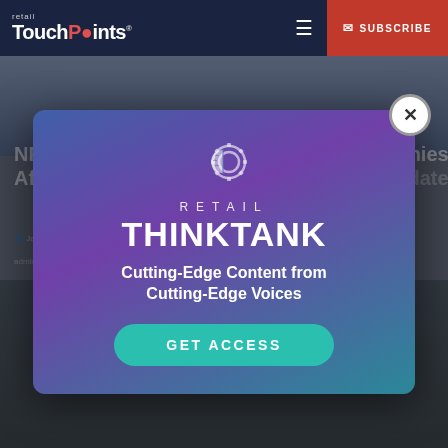retail TouchPoints — SUBSCRIBE
NRF Calls On Biden To Work With Companies After Supreme Court Blocks Vaccine Mandate
[Figure (screenshot): Retail ThinkTank promotional modal overlay on top of the Retail TouchPoints website. The modal has a gradient purple/teal background, a brain+gear icon, 'RETAIL THINKTANK' title, 'Cutting-Edge Content from Cutting-Edge Voices' tagline, and a teal 'GET ACCESS' button. A close (X) button is in the top-right corner.]
[Figure (photo): Retail store interior photo showing people browsing, partially visible behind the modal overlay.]